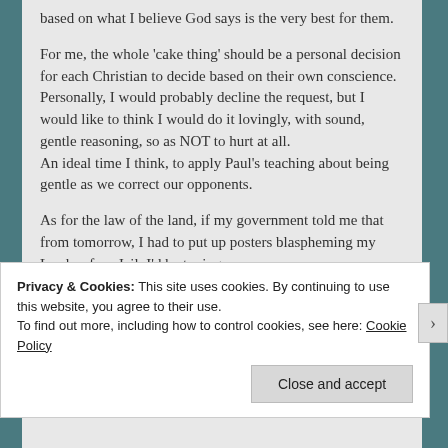based on what I believe God says is the very best for them.

For me, the whole ‘cake thing’ should be a personal decision for each Christian to decide based on their own conscience.
Personally, I would probably decline the request, but I would like to think I would do it lovingly, with sound, gentle reasoning, so as NOT to hurt at all.
An ideal time I think, to apply Paul’s teaching about being gentle as we correct our opponents.

As for the law of the land, if my government told me that from tomorrow, I had to put up posters blaspheming my Lord or face Jail, I’d be typing
Privacy & Cookies: This site uses cookies. By continuing to use this website, you agree to their use.
To find out more, including how to control cookies, see here: Cookie Policy